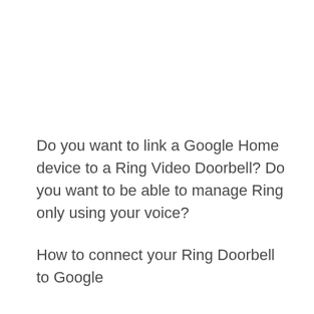Do you want to link a Google Home device to a Ring Video Doorbell? Do you want to be able to manage Ring only using your voice?
How to connect your Ring Doorbell to Google